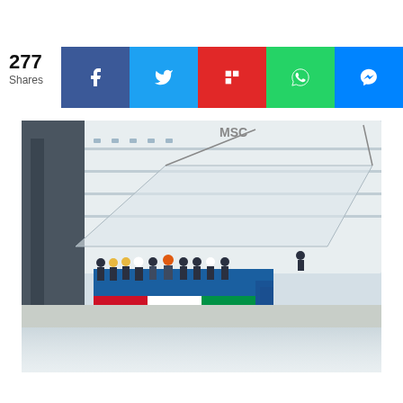277 Shares
[Figure (photo): Social media share bar with Facebook, Twitter, Flipboard, WhatsApp, and Messenger buttons showing 277 shares]
[Figure (photo): Outdoor ceremony at a shipyard featuring a large white MSC cruise ship in the background. A group of people wearing uniforms, hard hats, and face masks stand at attention on a dock in front of a blue platform stage with Italian flag colors. A speaker stands on the stage platform.]